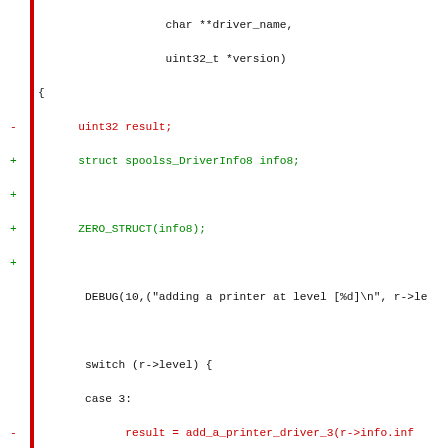[Figure (other): A unified diff / source code patch showing changes to a C function. Lines with '-' prefix are deletions (red), lines with '+' prefix are additions (green), and context lines are black. The code relates to adding a printer driver, including struct declarations, ZERO_STRUCT initialization, DEBUG call, a switch/case block, and info8 field assignments.]